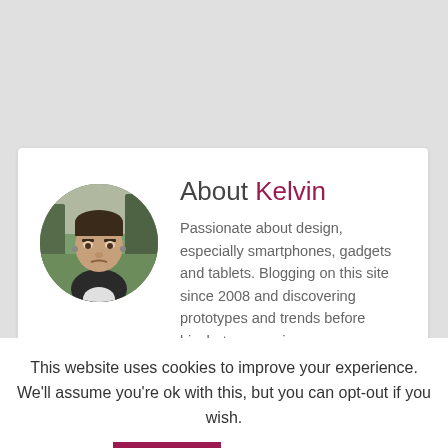[Figure (photo): Circular profile photo of a young man outdoors, with trees and park in background]
About Kelvin
Passionate about design, especially smartphones, gadgets and tablets. Blogging on this site since 2008 and discovering prototypes and trends before bigshot companies
This website uses cookies to improve your experience. We'll assume you're ok with this, but you can opt-out if you wish.
Accept   Read More